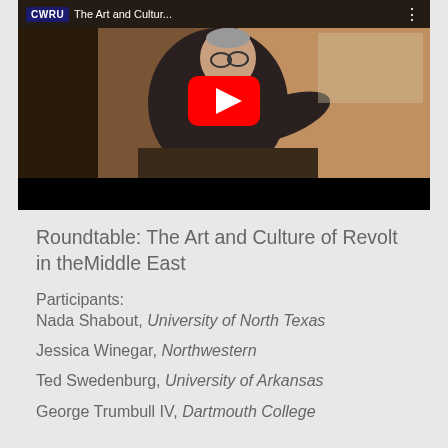[Figure (screenshot): YouTube video thumbnail showing a man in dark jacket leaning over a podium, with CWRU logo and title 'The Art and Cultur...' in the top bar, and a red YouTube play button in the center]
Roundtable: The Art and Culture of Revolt in theMiddle East
Participants:
Nada Shabout, University of North Texas
Jessica Winegar, Northwestern
Ted Swedenburg, University of Arkansas
George Trumbull IV, Dartmouth College